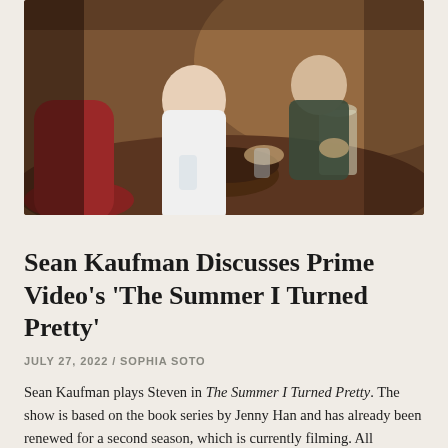[Figure (photo): Scene from The Summer I Turned Pretty showing two young men at a dinner table. One wears a white tank top, the other a dark shirt. There is a bowl and a glass pitcher on the table. Indoor warm lighting.]
Sean Kaufman Discusses Prime Video's 'The Summer I Turned Pretty'
JULY 27, 2022 / SOPHIA SOTO
Sean Kaufman plays Steven in The Summer I Turned Pretty. The show is based on the book series by Jenny Han and has already been renewed for a second season, which is currently filming. All episodes of season one are now